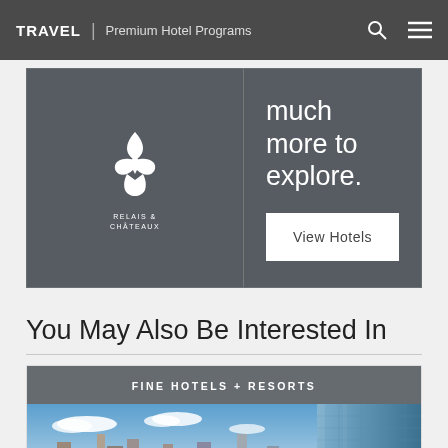TRAVEL | Premium Hotel Programs
[Figure (logo): Relais & Chateaux fleur-de-lis logo on dark grey promo card with 'much more to explore.' text and View Hotels button]
much more to explore.
View Hotels
You May Also Be Interested In
FINE HOTELS + RESORTS
[Figure (photo): City skyline photo showing urban buildings and blue sky with clouds, modern glass building on the right]